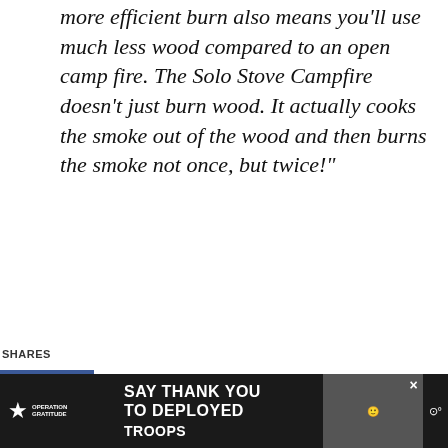more efficient burn also means you'll use much less wood compared to an open camp fire. The Solo Stove Campfire doesn't just burn wood. It actually cooks the smoke out of the wood and then burns the smoke not once, but twice!"
SHARES
[Figure (screenshot): SHE CAN STEM banner advertisement - white bold text on dark navy/black background]
[Figure (infographic): What's Next section with thumbnail image and text: Obermeyer Kids Snow...]
[Figure (screenshot): Operation Gratitude advertisement: SAY THANK YOU TO DEPLOYED TROOPS - on dark background with logo and cartoon character]